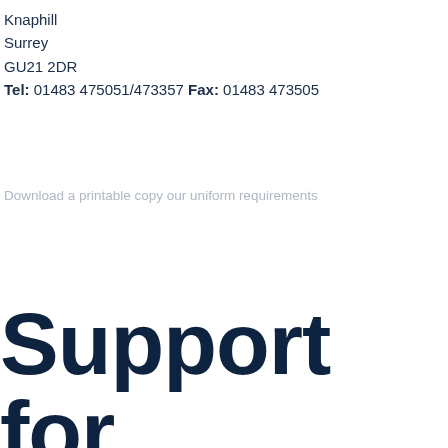Knaphill
Surrey
GU21 2DR
Tel: 01483 475051/473357 Fax: 01483 473505
Download a printable copy our uniform requirements
Support for Parents
We use cookies on our website to give you the most relevant experience by remembering your preferences and repeat visits. By clicking "Accept All", you consent to the use of ALL the cookies. However, you may visit "Cookie Settings" to provide a controlled consent.